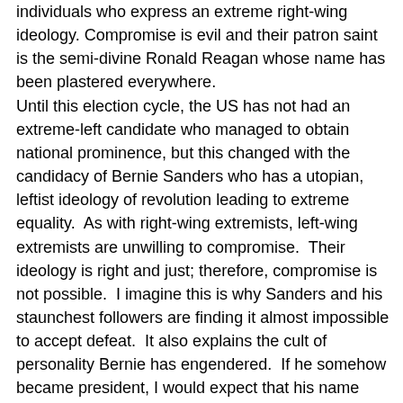individuals who express an extreme right-wing ideology. Compromise is evil and their patron saint is the semi-divine Ronald Reagan whose name has been plastered everywhere.
Until this election cycle, the US has not had an extreme-left candidate who managed to obtain national prominence, but this changed with the candidacy of Bernie Sanders who has a utopian, leftist ideology of revolution leading to extreme equality. As with right-wing extremists, left-wing extremists are unwilling to compromise. Their ideology is right and just; therefore, compromise is not possible. I imagine this is why Sanders and his staunchest followers are finding it almost impossible to accept defeat. It also explains the cult of personality Bernie has engendered. If he somehow became president, I would expect that his name would be plastered everywhere. Fortunately for the US, Bernie Sanders will not be president as, according to Tuschman, the extremes always lead to an authoritarian government no matter what their utopian intentions were.